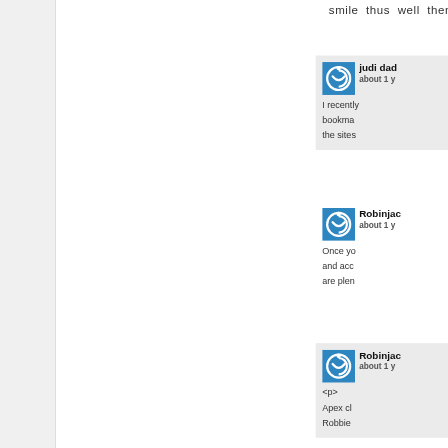smile thus well then y
[Figure (screenshot): Comment card with blue power icon avatar, username 'judi dad', timestamp 'about 1 y', and partial comment text 'I recently bookma the sites']
[Figure (screenshot): Comment card with blue power icon avatar, username 'Robinjac', timestamp 'about 1 y', and partial comment text 'Once yo and acc are plen']
[Figure (screenshot): Comment card with blue power icon avatar, username 'Robinjac', timestamp 'about 1 y', and partial comment text '<p> Apex cl Robbie']